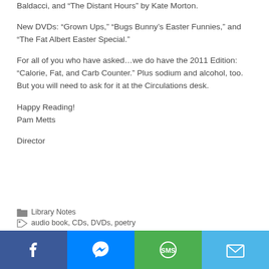Baldacci, and “The Distant Hours” by Kate Morton.
New DVDs: “Grown Ups,” “Bugs Bunny’s Easter Funnies,” and “The Fat Albert Easter Special.”
For all of you who have asked…we do have the 2011 Edition: “Calorie, Fat, and Carb Counter.” Plus sodium and alcohol, too. But you will need to ask for it at the Circulations desk.
Happy Reading!
Pam Metts
Director
Library Notes
audio book, CDs, DVDs, poetry